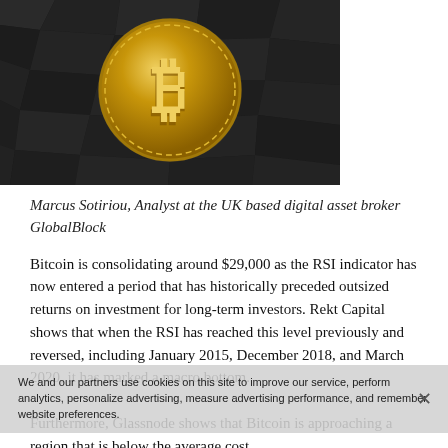[Figure (photo): A gold Bitcoin coin resting on dark cracked coal or rocks, photographed from above]
Marcus Sotiriou, Analyst at the UK based digital asset broker GlobalBlock
Bitcoin is consolidating around $29,000 as the RSI indicator has now entered a period that has historically preceded outsized returns on investment for long-term investors. Rekt Capital shows that when the RSI has reached this level previously and reversed, including January 2015, December 2018, and March 2020, it has marked a macro bottom.
Furthermore, Glassnode shows that Bitcoin is approaching a region that is below the average cost
We and our partners use cookies on this site to improve our service, perform analytics, personalize advertising, measure advertising performance, and remember website preferences.